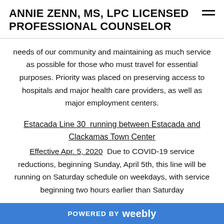ANNIE ZENN, MS, LPC LICENSED PROFESSIONAL COUNSELOR
needs of our community and maintaining as much service as possible for those who must travel for essential purposes. Priority was placed on preserving access to hospitals and major health care providers, as well as major employment centers.
Estacada Line 30  running between Estacada and Clackamas Town Center
Effective Apr. 5, 2020  Due to COVID-19 service reductions, beginning Sunday, April 5th, this line will be running on Saturday schedule on weekdays, with service beginning two hours earlier than Saturday
POWERED BY weebly